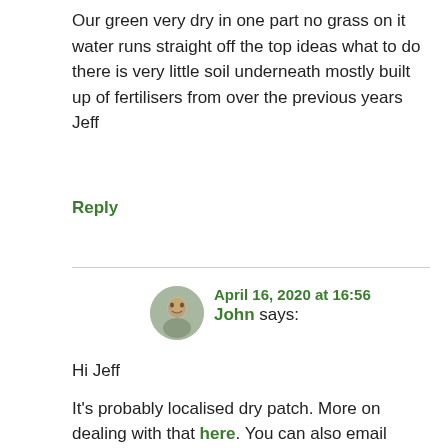Our green very dry in one part no grass on it water runs straight off the top ideas what to do there is very little soil underneath mostly built up of fertilisers from over the previous years
Jeff
Reply
April 16, 2020 at 16:56
John says:
Hi Jeff
It’s probably localised dry patch. More on dealing with that here. You can also email some photos if you want to clarify.
Thanks